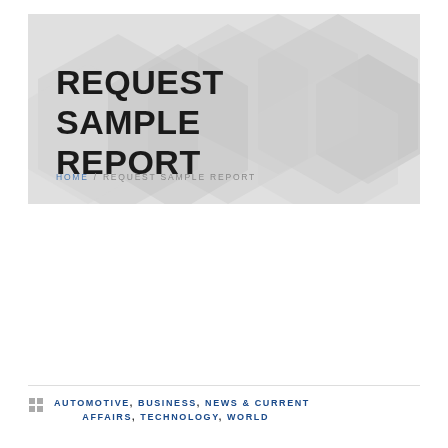REQUEST SAMPLE REPORT
REQUEST SAMPLE REPORT
HOME / REQUEST SAMPLE REPORT
AUTOMOTIVE, BUSINESS, NEWS & CURRENT AFFAIRS, TECHNOLOGY, WORLD